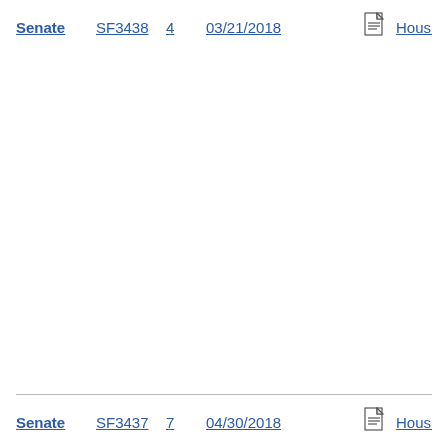| Chamber | Bill | Version | Date | Doc | Author |
| --- | --- | --- | --- | --- | --- |
| Senate | SF3438 | 4 | 03/21/2018 | [doc] | Housle... |
| Senate | SF3437 | 7 | 04/30/2018 | [doc] | Housle... |